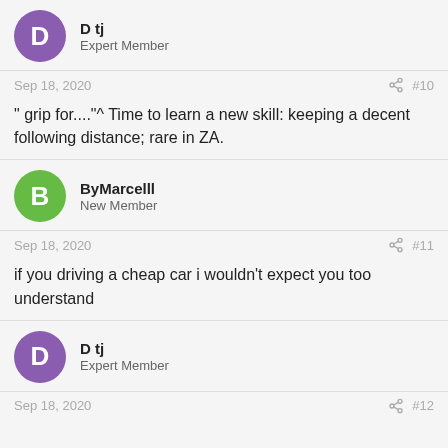D tj
Expert Member
Sep 18, 2020  #10
" grip for...."^ Time to learn a new skill: keeping a decent following distance; rare in ZA.
ByMarcelll
New Member
Sep 18, 2020  #11
if you driving a cheap car i wouldn't expect you too understand
D tj
Expert Member
Sep 18, 2020  #12